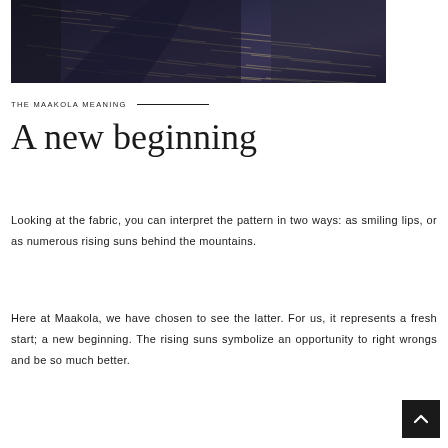[Figure (photo): A person wearing a dark patterned fabric garment, photographed against an urban background. The fabric shows a dark textile with a repeating linear pattern.]
THE MAAKOLA MEANING
A new beginning
Looking at the fabric, you can interpret the pattern in two ways: as smiling lips, or as numerous rising suns behind the mountains.
Here at Maakola, we have chosen to see the latter. For us, it represents a fresh start; a new beginning. The rising suns symbolize an opportunity to right wrongs and be so much better.